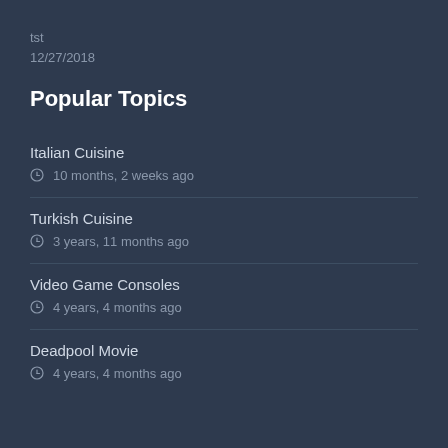tst
12/27/2018
Popular Topics
Italian Cuisine
10 months, 2 weeks ago
Turkish Cuisine
3 years, 11 months ago
Video Game Consoles
4 years, 4 months ago
Deadpool Movie
4 years, 4 months ago